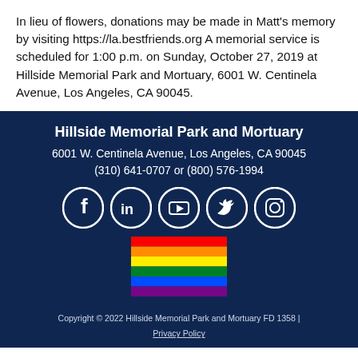In lieu of flowers, donations may be made in Matt's memory by visiting https://la.bestfriends.org A memorial service is scheduled for 1:00 p.m. on Sunday, October 27, 2019 at Hillside Memorial Park and Mortuary, 6001 W. Centinela Avenue, Los Angeles, CA 90045.
Hillside Memorial Park and Mortuary
6001 W. Centinela Avenue, Los Angeles, CA 90045
(310) 641-0707 or (800) 576-1994
Copyright © 2022 Hillside Memorial Park and Mortuary FD 1358 | Privacy Policy